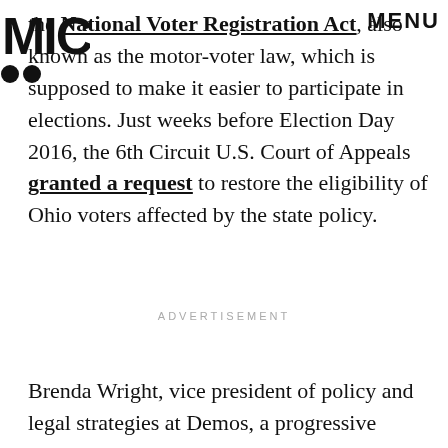MIC | MENU
the National Voter Registration Act, also known as the motor-voter law, which is supposed to make it easier to participate in elections. Just weeks before Election Day 2016, the 6th Circuit U.S. Court of Appeals granted a request to restore the eligibility of Ohio voters affected by the state policy.
ADVERTISEMENT
Brenda Wright, vice president of policy and legal strategies at Demos, a progressive public policy group